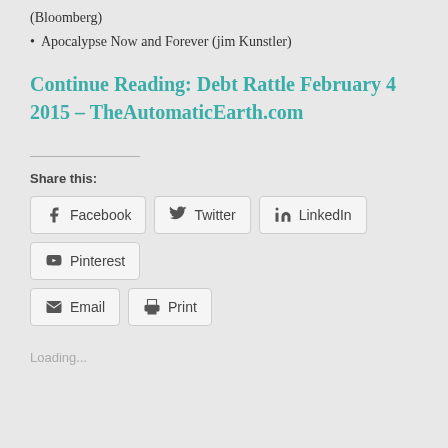(Bloomberg)
• Apocalypse Now and Forever (jim Kunstler)
Continue Reading: Debt Rattle February 4 2015 – TheAutomaticEarth.com
Share this:
Facebook  Twitter  LinkedIn  Pinterest  Email  Print
Loading...